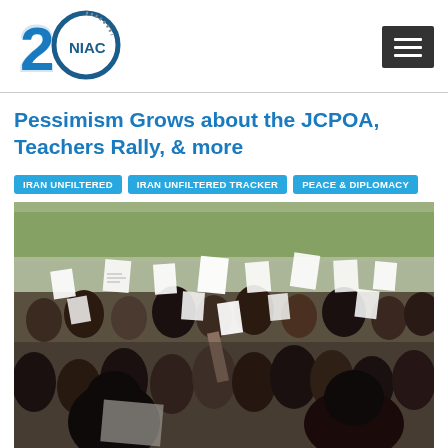[Figure (logo): NIAC 20th anniversary logo — stylized '20' with 'NIAC' text in blue]
Pessimism Grows about the JCPOA, Teachers Rally, & more
IRAN UNFILTERED
IRAN UNFILTERED TRACKER
PEACE & DIPLOMACY
[Figure (photo): A large crowd of protesters, many holding white signs and papers aloft, in an outdoor urban setting with trees in the background. The scene appears to be a teachers rally in Iran.]